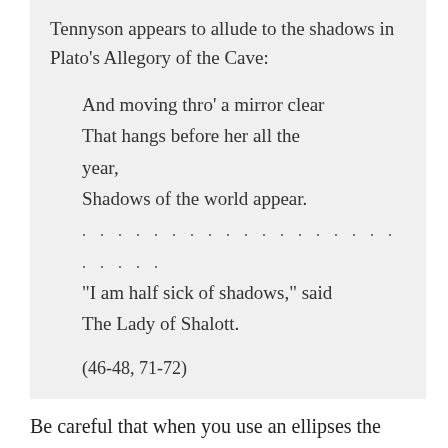Tennyson appears to allude to the shadows in Plato’s Allegory of the Cave:
And moving thro’ a mirror clear
That hangs before her all the year,
Shadows of the world appear.
. . . . . . . . . . . . . . . . . . . . . . .
“I am half sick of shadows,” said
The Lady of Shalott.

(46-48, 71-72)
Be careful that when you use an ellipses the